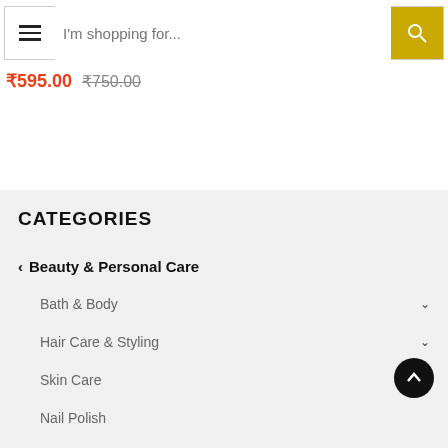I'm shopping for... [search bar with hamburger menu]
₹595.00 ₹750.00
CATEGORIES
< Beauty & Personal Care
Bath & Body
Hair Care & Styling
Skin Care
Nail Polish
Makeup